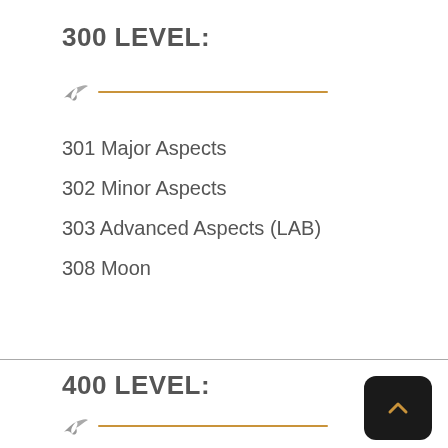300 LEVEL:
301 Major Aspects
302 Minor Aspects
303 Advanced Aspects (LAB)
308 Moon
400 LEVEL: